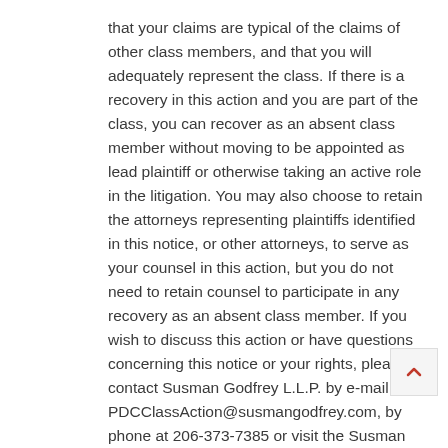that your claims are typical of the claims of other class members, and that you will adequately represent the class. If there is a recovery in this action and you are part of the class, you can recover as an absent class member without moving to be appointed as lead plaintiff or otherwise taking an active role in the litigation. You may also choose to retain the attorneys representing plaintiffs identified in this notice, or other attorneys, to serve as your counsel in this action, but you do not need to retain counsel to participate in any recovery as an absent class member. If you wish to discuss this action or have questions concerning this notice or your rights, please contact Susman Godfrey L.L.P. by e-mail at PDCClassAction@susmangodfrey.com, by phone at 206-373-7385 or visit the Susman Godfrey website at www.susmangodfrey.com for more information.
Plaintiffs are represented by Susman Godfrey L.L.P., Foley Bezek Behle & Curtis LLP and Good Wildman Hegness & Walley. These firms collectively have substantial experience in prosecuting investor class actions...